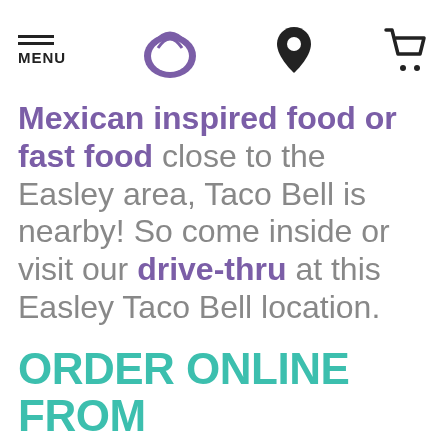MENU | [Taco Bell logo] | [Location icon] | [Cart icon]
Mexican inspired food or fast food close to the Easley area, Taco Bell is nearby! So come inside or visit our drive-thru at this Easley Taco Bell location.
ORDER ONLINE FROM TACO BELL EASLEY,